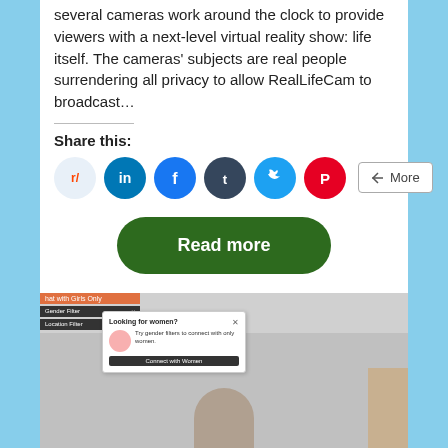several cameras work around the clock to provide viewers with a next-level virtual reality show: life itself. The cameras' subjects are real people surrendering all privacy to allow RealLifeCam to broadcast...
Share this:
[Figure (infographic): Social sharing icons: Reddit, LinkedIn, Facebook, Tumblr, Twitter, Pinterest, and a More button]
[Figure (infographic): Green rounded Read more button]
[Figure (screenshot): Screenshot of a video chat interface with a gender filter popup saying 'Looking for women? Try gender filters to connect with only women.' with a Connect with Women button]